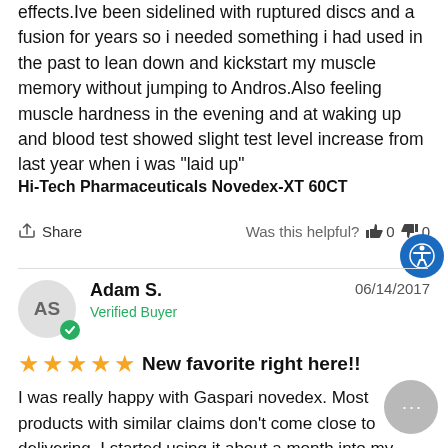effects.Ive been sidelined with ruptured discs and a fusion for years so i needed something i had used in the past to lean down and kickstart my muscle memory without jumping to Andros.Also feeling muscle hardness in the evening and at waking up and blood test showed slight test level increase from last year when i was "laid up"
Hi-Tech Pharmaceuticals Novedex-XT 60CT
Share    Was this helpful?  0  0
Adam S.   06/14/2017   Verified Buyer
New favorite right here!!
I was really happy with Gaspari novedex. Most products with similar claims don't come close to delivering. I started using it about a month into my summer cut and the best thing I noticed was muscle denisty and hardening that I had in past cuts. Improved sleep certainly helped with recovery and I felt better throughout each workout. Seemed to kick in